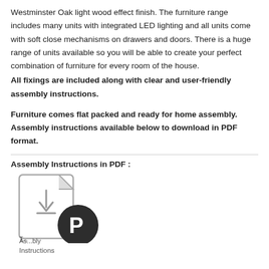Westminster Oak light wood effect finish. The furniture range includes many units with integrated LED lighting and all units come with soft close mechanisms on drawers and doors. There is a huge range of units available so you will be able to create your perfect combination of furniture for every room of the house.
All fixings are included along with clear and user-friendly assembly instructions.
Furniture comes flat packed and ready for home assembly. Assembly instructions available below to download in PDF format.
Assembly Instructions in PDF :
[Figure (illustration): PDF file icon with a document shape (folded top-right corner) overlaid with a dark circular badge containing a bold letter P, representing a PDF assembly instructions download link. Below the icon are partially visible text labels 'T...' and 'As...bly' and 'Instructions'.]